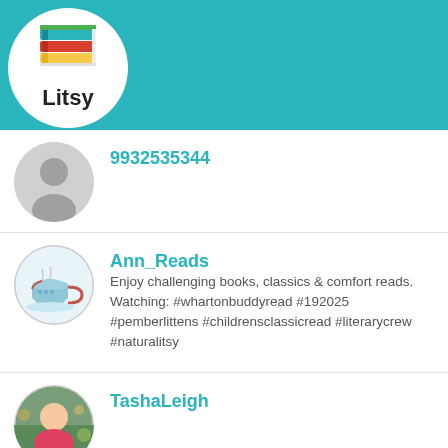[Figure (screenshot): Litsy app header with logo, navigation icons (home, search, add, lightning, profile), and colored stripes (yellow, red)]
9932535344
Ann_Reads
Enjoy challenging books, classics & comfort reads. Watching: #whartonbuddyread #192025 #pemberlittens #childrensclassicread #literarycrew #naturalitsy
TashaLeigh
FortunateSon
goodreads.com/david_poole
Bookworm04
Book goal 1 book a week (52 for 2022 if I added